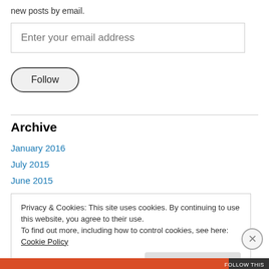new posts by email.
Enter your email address
Follow
Archive
January 2016
July 2015
June 2015
Privacy & Cookies: This site uses cookies. By continuing to use this website, you agree to their use. To find out more, including how to control cookies, see here: Cookie Policy
Close and accept